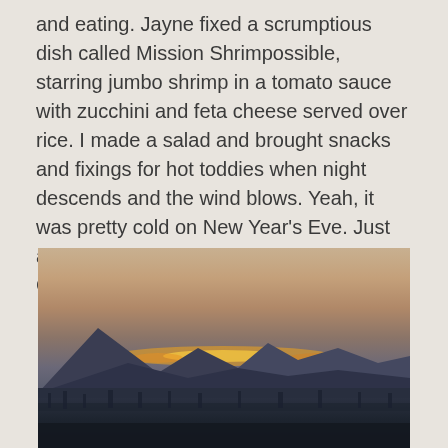and eating. Jayne fixed a scrumptious dish called Mission Shrimpossible, starring jumbo shrimp in a tomato sauce with zucchini and feta cheese served over rice. I made a salad and brought snacks and fixings for hot toddies when night descends and the wind blows. Yeah, it was pretty cold on New Year's Eve. Just another reason to have another toddy! Cheers!
[Figure (photo): Outdoor landscape photo showing a sunset or sunrise over mountains with silhouetted treeline and vegetation in the foreground, warm orange and golden horizon glow against a dusky sky]